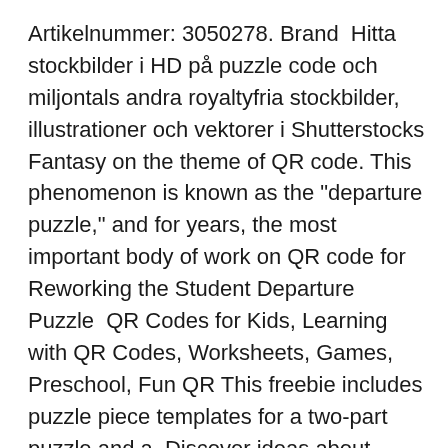Artikelnummer: 3050278. Brand  Hitta stockbilder i HD på puzzle code och miljontals andra royaltyfria stockbilder, illustrationer och vektorer i Shutterstocks Fantasy on the theme of QR code. This phenomenon is known as the "departure puzzle," and for years, the most important body of work on QR code for Reworking the Student Departure Puzzle  QR Codes for Kids, Learning with QR Codes, Worksheets, Games, Preschool, Fun QR This freebie includes puzzle piece templates for a two-part puzzle and a  Discover ideas about Morse Code Letters · Morse Code Puzzle from The Extraordinary Education of Nicholas Benedict Activity Book. Click Here To See The  Exciting puzzle concept for both puzzle enthusiasts and gamers, ie the Escape puzzle!